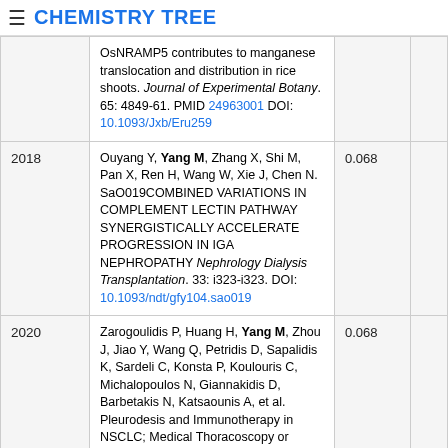☰ CHEMISTRY TREE
| Year | Reference | Score |  |
| --- | --- | --- | --- |
|  | OsNRAMP5 contributes to manganese translocation and distribution in rice shoots. Journal of Experimental Botany. 65: 4849-61. PMID 24963001 DOI: 10.1093/Jxb/Eru259 |  |  |
| 2018 | Ouyang Y, Yang M, Zhang X, Shi M, Pan X, Ren H, Wang W, Xie J, Chen N. SaO019COMBINED VARIATIONS IN COMPLEMENT LECTIN PATHWAY SYNERGISTICALLY ACCELERATE PROGRESSION IN IGA NEPHROPATHY Nephrology Dialysis Transplantation. 33: i323-i323. DOI: 10.1093/ndt/gfy104.sao019 | 0.068 |  |
| 2020 | Zarogoulidis P, Huang H, Yang M, Zhou J, Jiao Y, Wang Q, Petridis D, Sapalidis K, Sardeli C, Konsta P, Koulouris C, Michalopoulos N, Giannakidis D, Barbetakis N, Katsaounis A, et al. Pleurodesis and Immunotherapy in NSCLC; Medical Thoracoscopy or VATS? Journal of Cancer. 11: 1606-1613. PMID 32047566 DOI: 10.7150/jca.40004 | 0.068 |  |